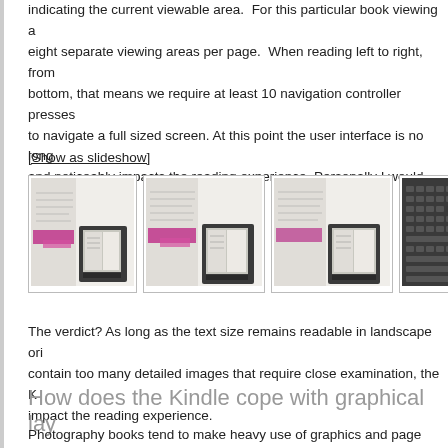indicating the current viewable area. For this particular book viewing a eight separate viewing areas per page. When reading left to right, from bottom, that means we require at least 10 navigation controller presses to navigate a full sized screen. At this point the user interface is no long and noticeably impacts the reading experience. Personally I would find way.
[Show as slideshow]
[Figure (photo): Four thumbnail photos showing an open book next to a Kindle device, displayed side by side in a gallery row. The books show handwritten text and pink/magenta colored elements. Photos show various angles of the book-Kindle comparison.]
The verdict? As long as the text size remains readable in landscape ori contain too many detailed images that require close examination, the K impact the reading experience.
How does the Kindle cope with graphical lay
Photography books tend to make heavy use of graphics and page layo